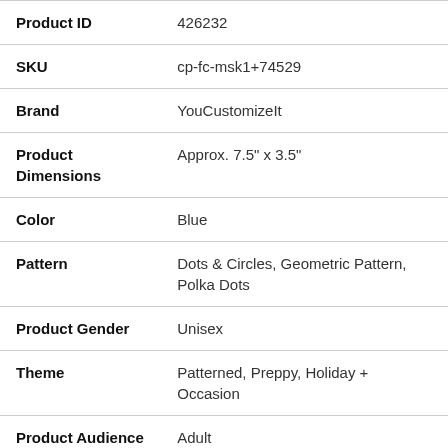| Attribute | Value |
| --- | --- |
| Product ID | 426232 |
| SKU | cp-fc-msk1+74529 |
| Brand | YouCustomizeIt |
| Product Dimensions | Approx. 7.5" x 3.5" |
| Color | Blue |
| Pattern | Dots & Circles, Geometric Pattern, Polka Dots |
| Product Gender | Unisex |
| Theme | Patterned, Preppy, Holiday + Occasion |
| Product Audience | Adult |
| Material | Fabric |
| Occasion | Back To School Supplies |